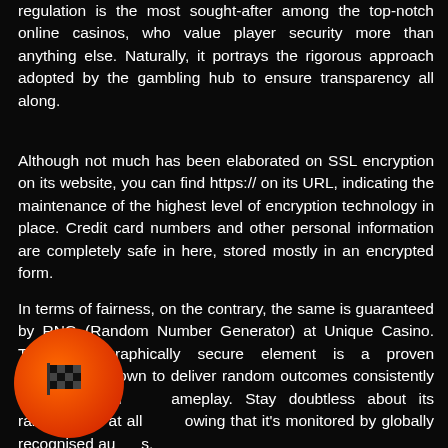regulation is the most sought-after among the top-notch online casinos, who value player security more than anything else. Naturally, it portrays the rigorous approach adopted by the gambling hub to ensure transparency all along.
Although not much has been elaborated on SSL encryption on its website, you can find https:// on its URL, indicating the maintenance of the highest level of encryption technology in place. Credit card numbers and other personal information are completely safe in here, stored mostly in an encrypted form.
In terms of fairness, on the contrary, the same is guaranteed by RNG (Random Number Generator) at Unique Casino. This cryptographically secure element is a proven technology, known to deliver random outcomes consistently throughout on gameplay. Stay doubtless about its randomness at all owing that it's monitored by globally recognised au s.
[Figure (logo): Orange-red gradient circular button with a checkered flag icon in the center, positioned at bottom left corner]